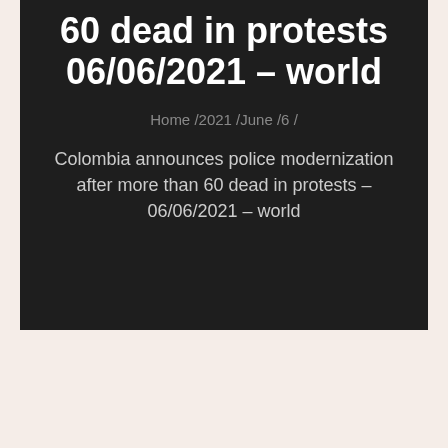60 dead in protests 06/06/2021 – world
Home / 2021 / June / 6 /
Colombia announces police modernization after more than 60 dead in protests – 06/06/2021 – world